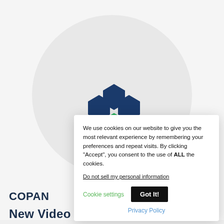[Figure (logo): COPAN hexagonal logo made of dark blue and green hexagon shapes arranged in a flower/gear pattern]
We use cookies on our website to give you the most relevant experience by remembering your preferences and repeat visits. By clicking “Accept”, you consent to the use of ALL the cookies.
Do not sell my personal information
Cookie settings
Got It!
Privacy Policy
COPAN
New Video Highlighting